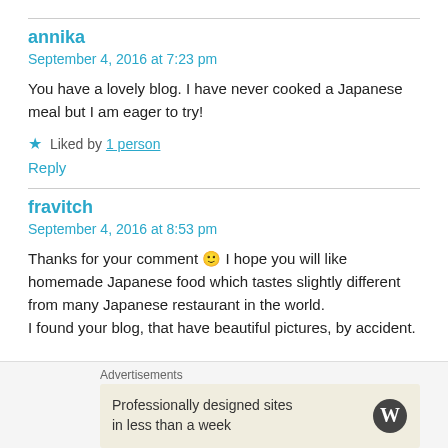annika
September 4, 2016 at 7:23 pm
You have a lovely blog. I have never cooked a Japanese meal but I am eager to try!
★ Liked by 1 person
Reply
fravitch
September 4, 2016 at 8:53 pm
Thanks for your comment 🙂 I hope you will like homemade Japanese food which tastes slightly different from many Japanese restaurant in the world.
I found your blog, that have beautiful pictures, by accident.
Advertisements
Professionally designed sites in less than a week